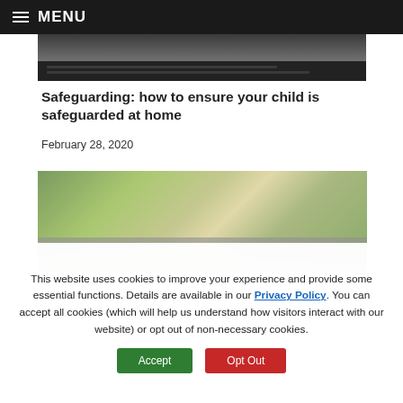MENU
[Figure (photo): Partial photo showing a laptop keyboard, dark background, partially cropped at top]
Safeguarding: how to ensure your child is safeguarded at home
February 28, 2020
[Figure (photo): Outdoor photo showing a road or barrier with trees and greenery in background]
This website uses cookies to improve your experience and provide some essential functions. Details are available in our Privacy Policy. You can accept all cookies (which will help us understand how visitors interact with our website) or opt out of non-necessary cookies.